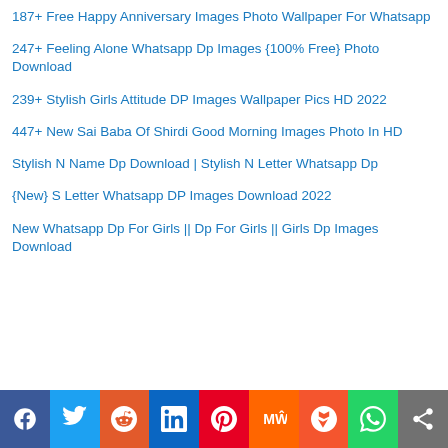187+ Free Happy Anniversary Images Photo Wallpaper For Whatsapp
247+ Feeling Alone Whatsapp Dp Images {100% Free} Photo Download
239+ Stylish Girls Attitude DP Images Wallpaper Pics HD 2022
447+ New Sai Baba Of Shirdi Good Morning Images Photo In HD
Stylish N Name Dp Download | Stylish N Letter Whatsapp Dp
{New} S Letter Whatsapp DP Images Download 2022
New Whatsapp Dp For Girls || Dp For Girls || Girls Dp Images Download
[Figure (other): Social sharing bar with icons for Facebook, Twitter, Reddit, LinkedIn, Pinterest, MeWe, Mix, WhatsApp, and Share]